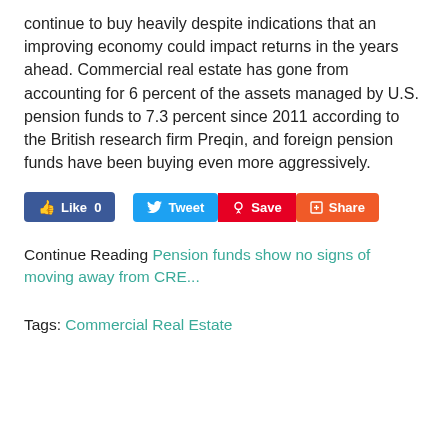continue to buy heavily despite indications that an improving economy could impact returns in the years ahead. Commercial real estate has gone from accounting for 6 percent of the assets managed by U.S. pension funds to 7.3 percent since 2011 according to the British research firm Preqin, and foreign pension funds have been buying even more aggressively.
[Figure (other): Social sharing buttons: Facebook Like 0, Tweet, Pinterest Save, Google+ Share]
Continue Reading Pension funds show no signs of moving away from CRE...
Tags: Commercial Real Estate